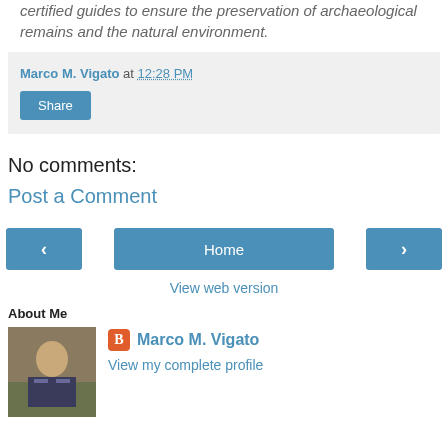certified guides to ensure the preservation of archaeological remains and the natural environment.
Marco M. Vigato at 12:28 PM
Share
No comments:
Post a Comment
Home
View web version
About Me
Marco M. Vigato
View my complete profile